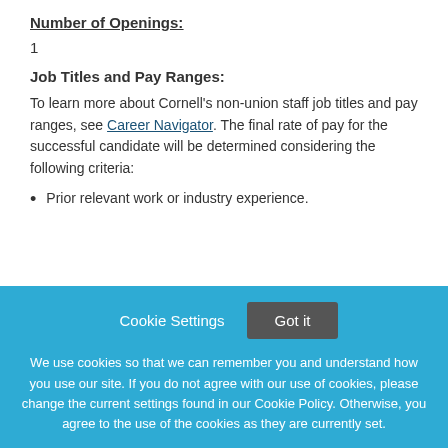Number of Openings:
1
Job Titles and Pay Ranges:
To learn more about Cornell's non-union staff job titles and pay ranges, see Career Navigator. The final rate of pay for the successful candidate will be determined considering the following criteria:
Prior relevant work or industry experience.
Cookie Settings  Got it
We use cookies so that we can remember you and understand how you use our site. If you do not agree with our use of cookies, please change the current settings found in our Cookie Policy. Otherwise, you agree to the use of the cookies as they are currently set.